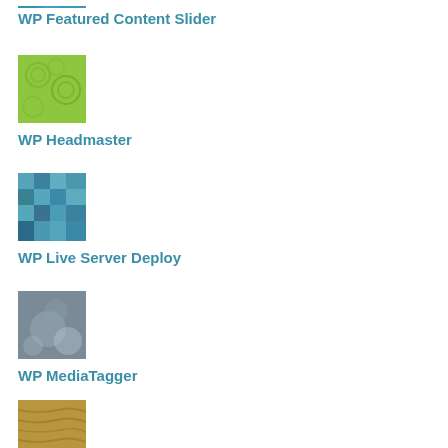[Figure (screenshot): WP Featured Content Slider plugin thumbnail - teal/blue colored square image, partially cropped at top]
WP Featured Content Slider
[Figure (screenshot): WP Headmaster plugin thumbnail - green square with circular pattern overlay]
WP Headmaster
[Figure (screenshot): WP Live Server Deploy plugin thumbnail - blue pixelated/mosaic square image]
WP Live Server Deploy
[Figure (screenshot): WP MediaTagger plugin thumbnail - gray/blue square with blurred bokeh circles]
WP MediaTagger
[Figure (screenshot): Bottom plugin thumbnail - tan/golden wood grain texture square, partially visible]